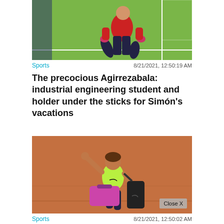[Figure (photo): Soccer goalkeeper in red shirt and dark pants in crouching/ready stance on green pitch]
Sports    8/21/2021, 12:50:19 AM
The precocious Agirrezabala: industrial engineering student and holder under the sticks for Simón's vacations
[Figure (photo): Tennis player in lime green Nike shirt and dark shorts waving on a red clay court, carrying a pink and black sports bag]
Sports    8/21/2021, 12:50:02 AM